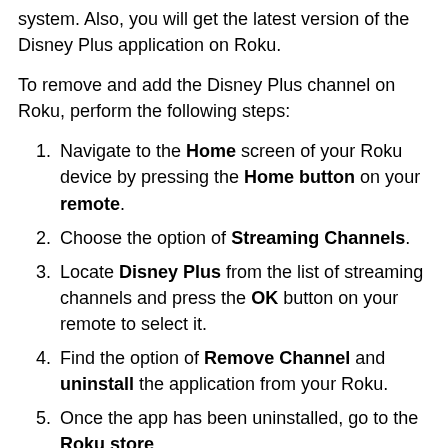system. Also, you will get the latest version of the Disney Plus application on Roku.
To remove and add the Disney Plus channel on Roku, perform the following steps:
Navigate to the Home screen of your Roku device by pressing the Home button on your remote.
Choose the option of Streaming Channels.
Locate Disney Plus from the list of streaming channels and press the OK button on your remote to select it.
Find the option of Remove Channel and uninstall the application from your Roku.
Once the app has been uninstalled, go to the Roku store.